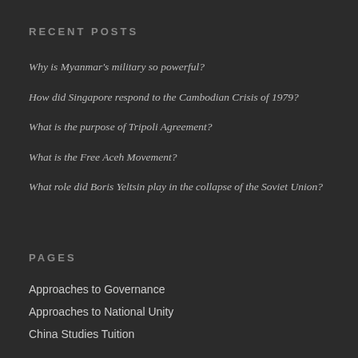RECENT POSTS
Why is Myanmar's military so powerful?
How did Singapore respond to the Cambodian Crisis of 1979?
What is the purpose of Tripoli Agreement?
What is the Free Aceh Movement?
What role did Boris Yeltsin play in the collapse of the Soviet Union?
PAGES
Approaches to Governance
Approaches to National Unity
China Studies Tuition